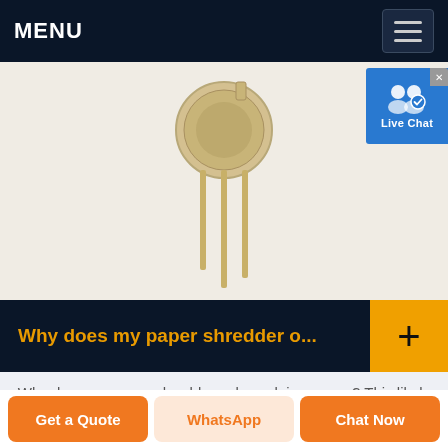MENU
[Figure (photo): Electronic component (TO-92 style transistor or sensor) with gold-colored metallic leads on a light beige/cream background]
[Figure (other): Live Chat widget button with user icon and checkmark badge]
Why does my paper shredder o...
Why does my paper shredder only work in reverse? This likely has to do with the Auto run sensor of your shredder not being engaged
Get a Quote  WhatsApp  Chat Now